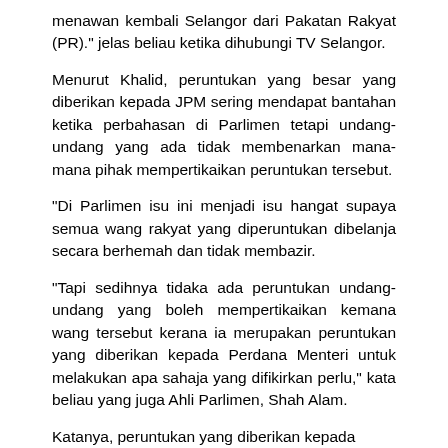menawan kembali Selangor dari Pakatan Rakyat (PR)." jelas beliau ketika dihubungi TV Selangor.
Menurut Khalid, peruntukan yang besar yang diberikan kepada JPM sering mendapat bantahan ketika perbahasan di Parlimen tetapi undang-undang yang ada tidak membenarkan mana-mana pihak mempertikaikan peruntukan tersebut.
"Di Parlimen isu ini menjadi isu hangat supaya semua wang rakyat yang diperuntukan dibelanja secara berhemah dan tidak membazir.
"Tapi sedihnya tidaka ada peruntukan undang-undang yang boleh mempertikaikan kemana wang tersebut kerana ia merupakan peruntukan yang diberikan kepada Perdana Menteri untuk melakukan apa sahaja yang difikirkan perlu," kata beliau yang juga Ahli Parlimen, Shah Alam.
Katanya, peruntukan yang diberikan kepada